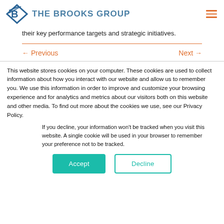THE BROOKS GROUP
their key performance targets and strategic initiatives.
← Previous   Next →
This website stores cookies on your computer. These cookies are used to collect information about how you interact with our website and allow us to remember you. We use this information in order to improve and customize your browsing experience and for analytics and metrics about our visitors both on this website and other media. To find out more about the cookies we use, see our Privacy Policy.
If you decline, your information won't be tracked when you visit this website. A single cookie will be used in your browser to remember your preference not to be tracked.